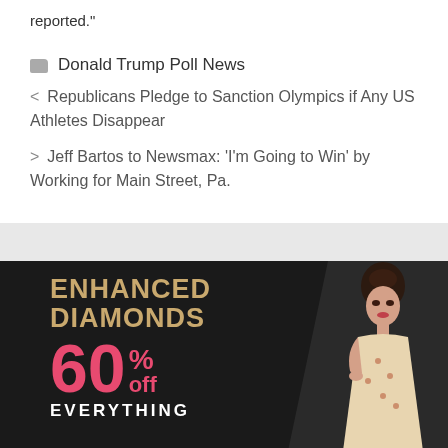reported."
Donald Trump Poll News
< Republicans Pledge to Sanction Olympics if Any US Athletes Disappear
> Jeff Bartos to Newsmax: ‘I’m Going to Win’ by Working for Main Street, Pa.
[Figure (advertisement): Advertisement for Enhanced Diamonds showing 60% off everything, with a woman in a floral dress on the right side against a dark background.]